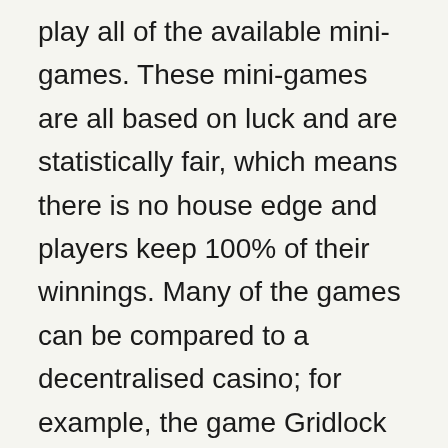play all of the available mini-games. These mini-games are all based on luck and are statistically fair, which means there is no house edge and players keep 100% of their winnings. Many of the games can be compared to a decentralised casino; for example, the game Gridlock is similar to Roulette but without the zero. This means that players can play hundreds of games and their tokens will stay the same on average. Because all of the processes are built on the blockchain, users can interact with the Money Tree platform via dApps on the website or directly on BSCScan if they prefer